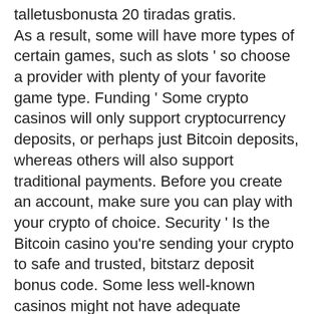talletusbonusta 20 tiradas gratis. As a result, some will have more types of certain games, such as slots ' so choose a provider with plenty of your favorite game type. Funding ' Some crypto casinos will only support cryptocurrency deposits, or perhaps just Bitcoin deposits, whereas others will also support traditional payments. Before you create an account, make sure you can play with your crypto of choice. Security ' Is the Bitcoin casino you're sending your crypto to safe and trusted, bitstarz deposit bonus code. Some less well-known casinos might not have adequate security, and your funds could be at risk. The room not solely does it settle for crypto currency, however you could get a giant deposit bonus with bitcoin, bitstarz casino 25 tiradas gratis. Vegascasino, bitstarz ei talletusbonusta 20 tiradas gratis0. Com – it's enjoyable to gamble on. Utilisateur: 30 f...